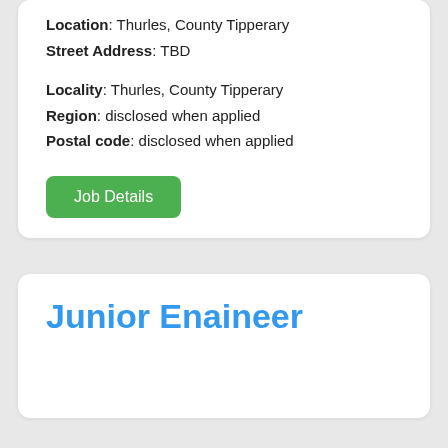Location: Thurles, County Tipperary
Street Address: TBD
Locality: Thurles, County Tipperary
Region: disclosed when applied
Postal code: disclosed when applied
Job Details
Junior Enaineer